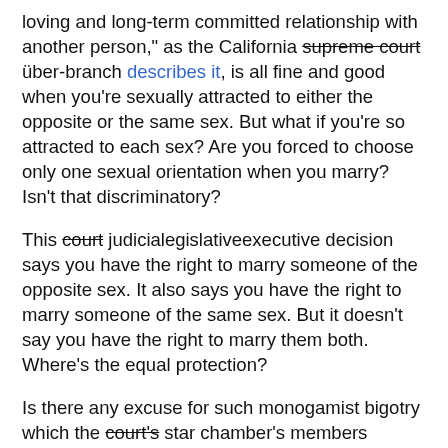loving and long-term committed relationship with another person," as the California supreme court über-branch describes it, is all fine and good when you're sexually attracted to either the opposite or the same sex. But what if you're so attracted to each sex? Are you forced to choose only one sexual orientation when you marry? Isn't that discriminatory?
This court judicialegislativeexecutive decision says you have the right to marry someone of the opposite sex. It also says you have the right to marry someone of the same sex. But it doesn't say you have the right to marry them both. Where's the equal protection?
Is there any excuse for such monogamist bigotry which the court's star chamber's members blatantly displayed throughout their decision? I won't call them polygaphobes. But don't you think they could've at least considered the rights of omnisexuals before "fixing" Proposition 22 the democratic choice of the people of California?
Indeed, did that state's judiciary absolute monarchy really intend to remove the designation of marriage as being kind of